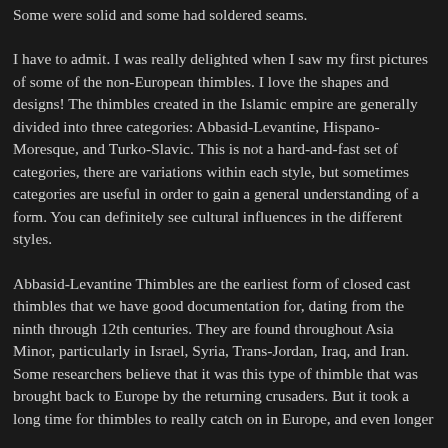Some were solid and some had soldered seams.
I have to admit. I was really delighted when I saw my first pictures of some of the non-European thimbles. I love the shapes and designs! The thimbles created in the Islamic empire are generally divided into three categories: Abbasid-Levantine, Hispano-Moresque, and Turko-Slavic. This is not a hard-and-fast set of categories, there are variations within each style, but sometimes categories are useful in order to gain a general understanding of a form. You can definitely see cultural influences in the different styles.
Abbasid-Levantine Thimbles are the earliest form of closed cast thimbles that we have good documentation for, dating from the ninth through 12th centuries. They are found throughout Asia Minor, particularly in Israel, Syria, Trans-Jordan, Iraq, and Iran. Some researchers believe that it was this type of thimble that was brought back to Europe by the returning crusaders. But it took a long time for thimbles to really catch on in Europe, and even longer